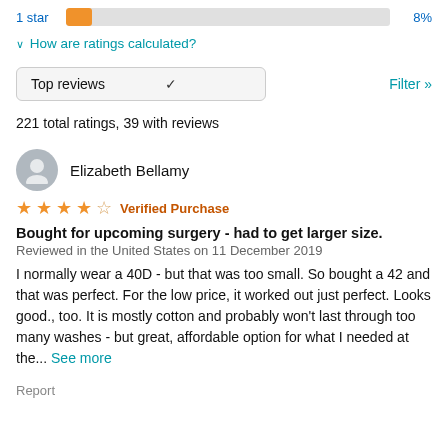[Figure (bar-chart): 1 star rating bar]
∨ How are ratings calculated?
Top reviews   ∨   Filter »
221 total ratings, 39 with reviews
Elizabeth Bellamy
★★★★☆ Verified Purchase
Bought for upcoming surgery - had to get larger size.
Reviewed in the United States on 11 December 2019
I normally wear a 40D - but that was too small. So bought a 42 and that was perfect. For the low price, it worked out just perfect. Looks good., too. It is mostly cotton and probably won't last through too many washes - but great, affordable option for what I needed at the... See more
Report